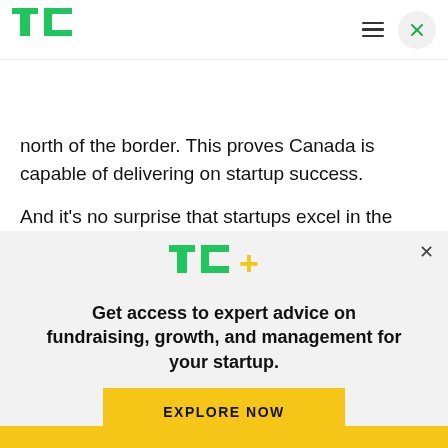TechCrunch logo, hamburger menu, close button
north of the border. This proves Canada is capable of delivering on startup success.
And it's no surprise that startups excel in the country. Sure, there is less access to VC funding and the persuasive call of Canada's southern neighbor, but the Canadian government is working hard to build and keep successful startup...
Get access to expert advice on fundraising, growth, and management for your startup.
EXPLORE NOW